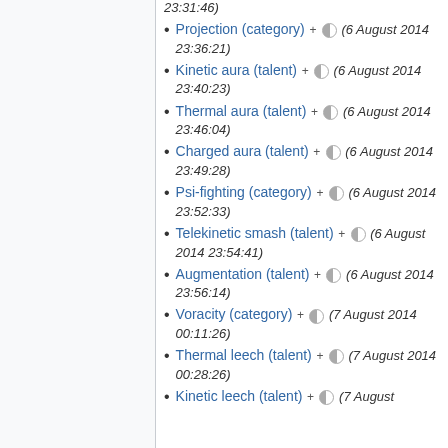23:31:46)
Projection (category) + ⊙ (6 August 2014 23:36:21)
Kinetic aura (talent) + ⊙ (6 August 2014 23:40:23)
Thermal aura (talent) + ⊙ (6 August 2014 23:46:04)
Charged aura (talent) + ⊙ (6 August 2014 23:49:28)
Psi-fighting (category) + ⊙ (6 August 2014 23:52:33)
Telekinetic smash (talent) + ⊙ (6 August 2014 23:54:41)
Augmentation (talent) + ⊙ (6 August 2014 23:56:14)
Voracity (category) + ⊙ (7 August 2014 00:11:26)
Thermal leech (talent) + ⊙ (7 August 2014 00:28:26)
Kinetic leech (talent) + ⊙ (7 August...